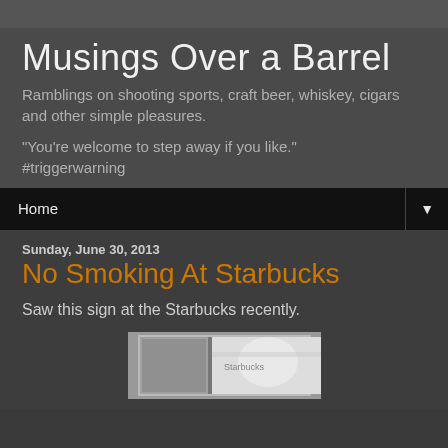Musings Over a Barrel
Ramblings on shooting sports, craft beer, whiskey, cigars and other simple pleasures.
"You're welcome to step away if you like." #triggerwarning
Home
Sunday, June 30, 2013
No Smoking At Starbucks
Saw this sign at the Starbucks recently.
[Figure (photo): A photo of a no smoking sign at a Starbucks store, black and white image showing a sign on glass.]